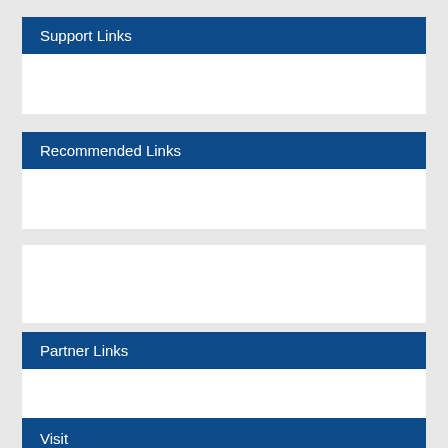Support Links
Recommended Links
Partner Links
Visit